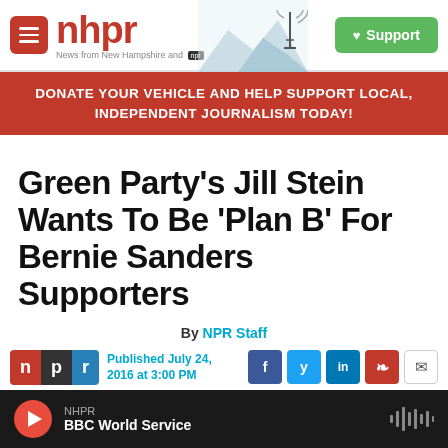[Figure (screenshot): NHPR website header with logo, menu button, and Support button]
DONATE YOUR VEHICLE AND HELP SUPPORT LOCAL, INDEPENDENT JOURNALISM TODAY!
Green Party's Jill Stein Wants To Be 'Plan B' For Bernie Sanders Supporters
By NPR Staff
Published July 24, 2016 at 3:00 PM
NHPR BBC World Service